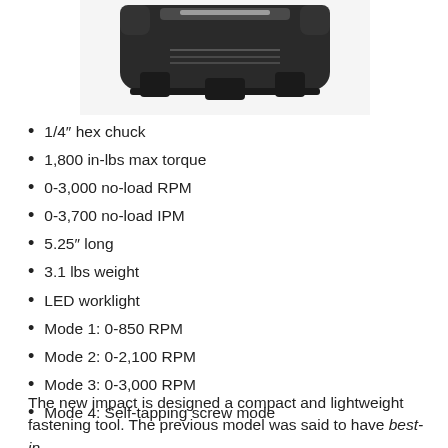[Figure (photo): Bottom view of a black cordless impact driver tool, showing the battery compartment area with angular/geometric industrial design]
1/4″ hex chuck
1,800 in-lbs max torque
0-3,000 no-load RPM
0-3,700 no-load IPM
5.25″ long
3.1 lbs weight
LED worklight
Mode 1: 0-850 RPM
Mode 2: 0-2,100 RPM
Mode 3: 0-3,000 RPM
Mode 4: Self-tapping screw mode
The new impact is designed a compact and lightweight fastening tool. The previous model was said to have best-in-